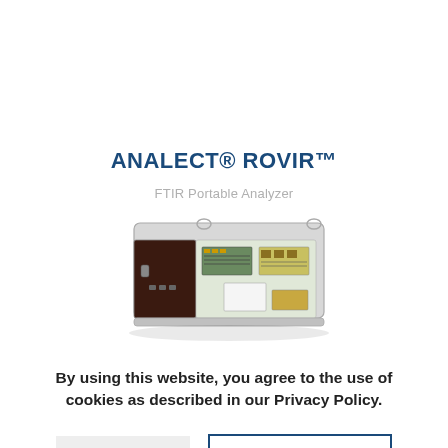ANALECT® ROVIR™
FTIR Portable Analyzer
[Figure (photo): Photo of the ANALECT ROVIR FTIR Portable Analyzer device, showing an open instrument case with internal electronics and components visible.]
By using this website, you agree to the use of cookies as described in our Privacy Policy.
OK
NO, THANKS